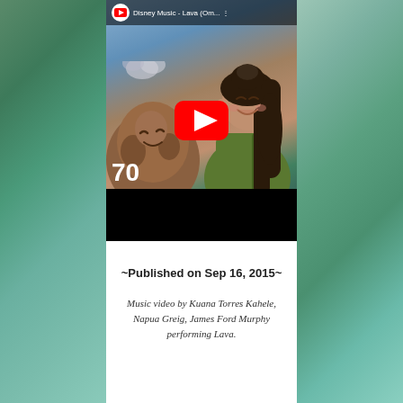[Figure (screenshot): YouTube video thumbnail showing Disney Music - Lava (Om...) with two animated characters (a volcano and a female character) and a red YouTube play button in the center. Top bar shows YouTube logo and video title. Bottom has black bar and '70' text.]
~Published on Sep 16, 2015~
Music video by Kuana Torres Kahele, Napua Greig, James Ford Murphy performing Lava.